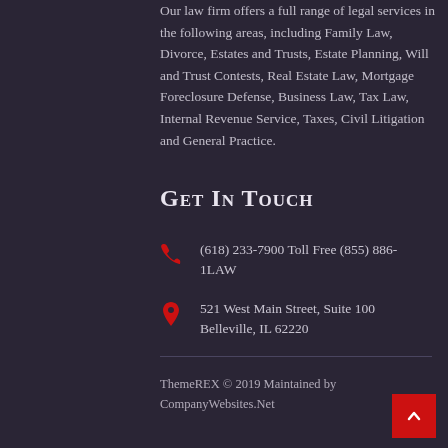Our law firm offers a full range of legal services in the following areas, including Family Law, Divorce, Estates and Trusts, Estate Planning, Will and Trust Contests, Real Estate Law, Mortgage Foreclosure Defense, Business Law, Tax Law, Internal Revenue Service, Taxes, Civil Litigation and General Practice.
Get In Touch
(618) 233-7900 Toll Free (855) 886-1LAW
521 West Main Street, Suite 100 Belleville, IL 62220
ThemeREX © 2019 Maintained by CompanyWebsites.Net